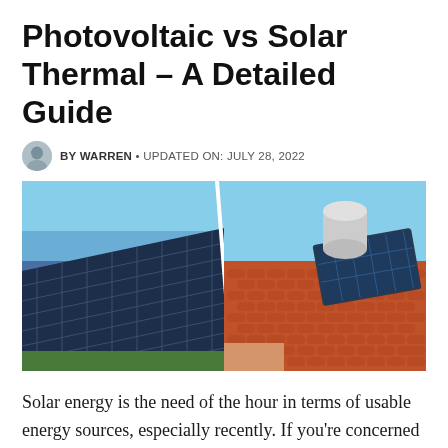Photovoltaic vs Solar Thermal – A Detailed Guide
BY WARREN • UPDATED ON: JULY 28, 2022
[Figure (photo): Split image showing photovoltaic solar panels on the left under a clear blue sky, and a solar thermal water heater on an orange tiled roof on the right.]
Solar energy is the need of the hour in terms of usable energy sources, especially recently. If you're concerned about a more sustainable livelihood in